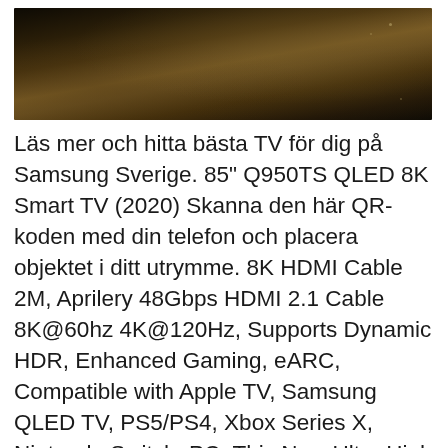[Figure (photo): Dark sepia-toned photograph, appears to show a road or surface at night with dim lighting]
Läs mer och hitta bästa TV för dig på Samsung Sverige. 85" Q950TS QLED 8K Smart TV (2020) Skanna den här QR-koden med din telefon och placera objektet i ditt utrymme. 8K HDMI Cable 2M, Aprilery 48Gbps HDMI 2.1 Cable 8K@60hz 4K@120Hz, Supports Dynamic HDR, Enhanced Gaming, eARC, Compatible with Apple TV, Samsung QLED TV, PS5/PS4, Xbox Series X, Nintendo Switch, PC. This New Ultra High Speed premium HDMI to HDM. 288 kr inkl. frakt.
Jämför pris. 100+ bevakar. *När du köper en QLED 4K-TV 2019/2020, The Frame (inte 32"), The Serif eller The Sero, erbjuder vi en 10-års